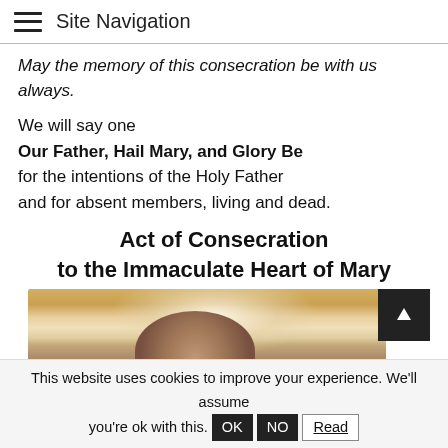Site Navigation
May the memory of this consecration be with us always.
We will say one
Our Father, Hail Mary, and Glory Be
for the intentions of the Holy Father
and for absent members, living and dead.
Act of Consecration
to the Immaculate Heart of Mary
[Figure (photo): Painting of the Immaculate Heart of Mary — a serene woman in white veil with a halo, looking downward. Portrait style, warm golden tones.]
This website uses cookies to improve your experience. We'll assume you're ok with this. OK  NO  Read